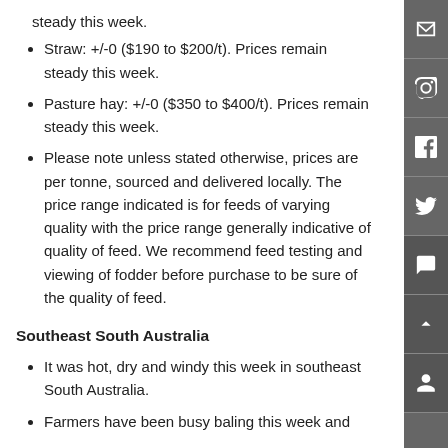steady this week.
Straw: +/-0 ($190 to $200/t). Prices remain steady this week.
Pasture hay: +/-0 ($350 to $400/t). Prices remain steady this week.
Please note unless stated otherwise, prices are per tonne, sourced and delivered locally. The price range indicated is for feeds of varying quality with the price range generally indicative of quality of feed. We recommend feed testing and viewing of fodder before purchase to be sure of the quality of feed.
Southeast South Australia
It was hot, dry and windy this week in southeast South Australia.
Farmers have been busy baling this week and